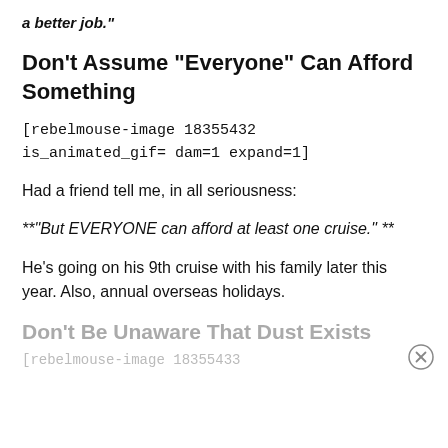a better job."
Don't Assume "Everyone" Can Afford Something
[rebelmouse-image 18355432 is_animated_gif= dam=1 expand=1]
Had a friend tell me, in all seriousness:
**"But EVERYONE can afford at least one cruise." **
He's going on his 9th cruise with his family later this year. Also, annual overseas holidays.
Don't Be Unaware That Dust Exists
[rebelmouse-image 18355433